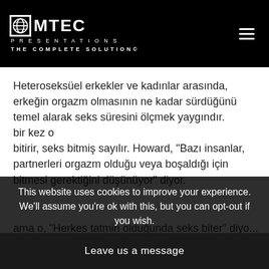[Figure (logo): Comtec Presentations logo with globe icon and tagline THE COMPLETE SOLUTION©]
Heteroseksüel erkekler ve kadınlar arasında, erkeğin orgazm olmasının ne kadar sürdüğünü temel alarak seks süresini ölçmek yaygındır. bir kez o bitirir, seks bitmiş sayılır. Howard, "Bazı insanlar, partnerleri orgazm olduğu veya boşaldığı için bitmesi gerektiğini düşünüyor" diyor.
ama o, "Herkes tatmin olduğunda seks biter" diyo...
This website uses cookies to improve your experience. We'll assume you're ok with this, but you can opt-out if you wish.
Leave us a message